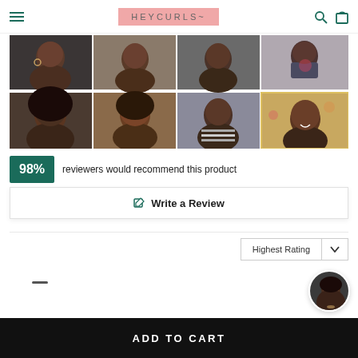HEYCURLS
[Figure (photo): Grid of 8 customer review photos showing women with natural curly hair, arranged in 2 rows of 4]
98% reviewers would recommend this product
✎ Write a Review
Highest Rating ∨
[Figure (photo): Circular reviewer avatar photo of a woman with short natural hair]
ADD TO CART